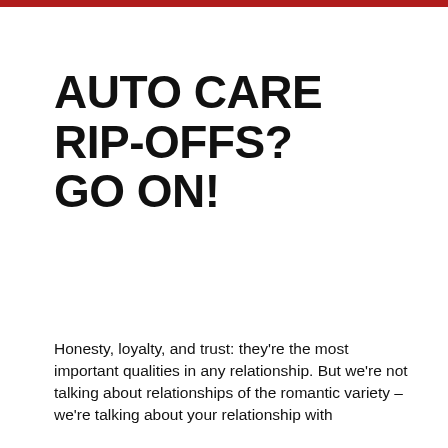AUTO CARE RIP-OFFS? GO ON!
Honesty, loyalty, and trust: they’re the most important qualities in any relationship. But we’re not talking about relationships of the romantic variety – we’re talking about your relationship with your auto shop. If you’ve been wondering whether